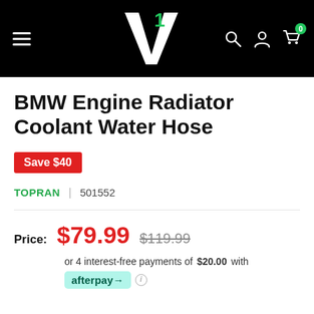[Figure (logo): V1 auto parts store navigation header with hamburger menu, V1 logo (white V with green 1), search icon, account icon, and cart icon with 0 badge on black background]
BMW Engine Radiator Coolant Water Hose
Save $40
TOPRAN | 501552
Price: $79.99  $119.99
or 4 interest-free payments of $20.00 with afterpay